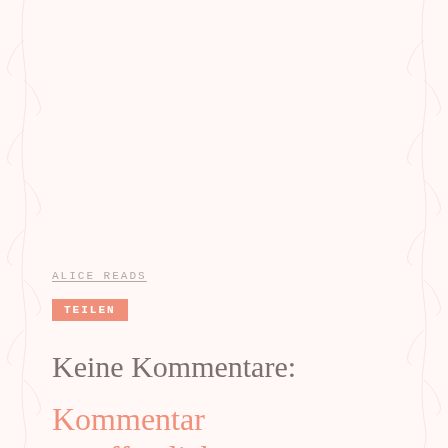ALICE READS
TEILEN
Keine Kommentare:
Kommentar veröffentlichen